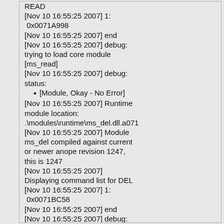READ
[Nov 10 16:55:25 2007] 1:
 0x0071A998
[Nov 10 16:55:25 2007] end
[Nov 10 16:55:25 2007] debug: trying to load core module [ms_read]
[Nov 10 16:55:25 2007] debug: status:
[Module, Okay - No Error]
[Nov 10 16:55:25 2007] Runtime module location: .\modules\runtime\ms_del.dll.a071
[Nov 10 16:55:25 2007] Module ms_del compiled against current or newer anope revision 1247, this is 1247
[Nov 10 16:55:25 2007] Displaying command list for DEL
[Nov 10 16:55:25 2007] 1:
 0x0071BC58
[Nov 10 16:55:25 2007] end
[Nov 10 16:55:25 2007] debug: trying to load core module [ms_del]
[Nov 10 16:55:25 2007] debug: status: